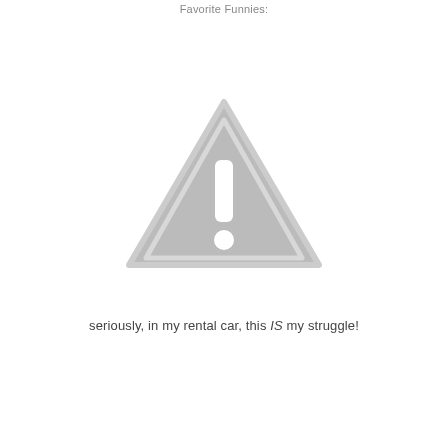Favorite Funnies:
[Figure (illustration): A gray warning/caution triangle icon with an exclamation mark in the center]
seriously, in my rental car, this IS my struggle!